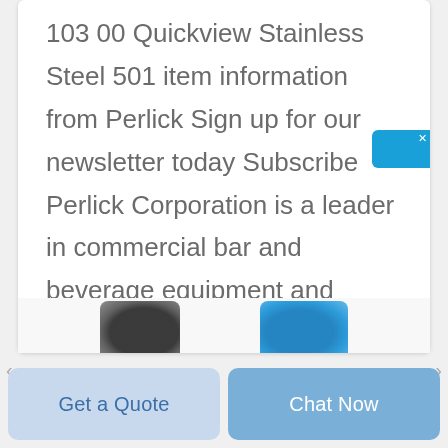103 00 Quickview Stainless Steel 501 item information from Perlick Sign up for our newsletter today Subscribe Perlick Corporation is a leader in commercial bar and beverage equipment and premium residential refrigeration with a legacy of quality innovation
[Figure (screenshot): Blue chat widget tab on right side with Chinese characters 在线咨询 (online consultation) and an X close button]
[Figure (photo): Two product images partially visible at bottom: a dark/black product on the left and a blue product on the right]
Get a Quote
Chat Now